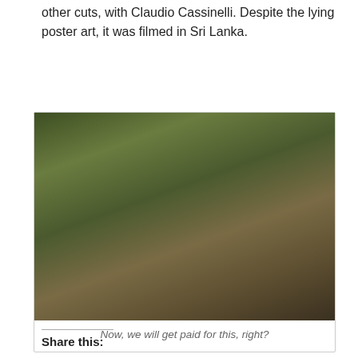other cuts, with Claudio Cassinelli. Despite the lying poster art, it was filmed in Sri Lanka.
[Figure (photo): A film still showing a man in a green shirt and a blonde woman in a white top among a crowd of indigenous-looking people in a jungle setting.]
Now, we will get paid for this, right?
Share this: